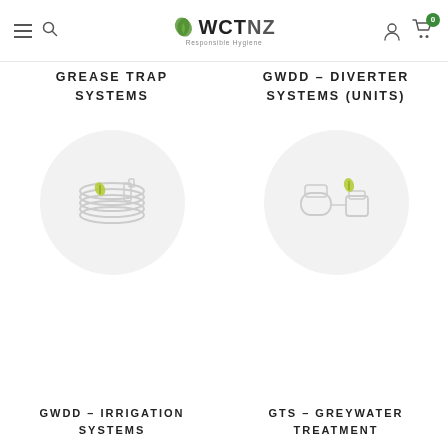WCTNZ - Responsible Hygiene
GREASE TRAP SYSTEMS
GWDD - DIVERTER SYSTEMS (UNITS)
[Figure (illustration): Circular grey icon with grease trap/pipe coil illustration]
[Figure (illustration): Circular grey icon with toilet and container/diverter unit illustration]
GWDD - IRRIGATION SYSTEMS
GTS - GREYWATER TREATMENT